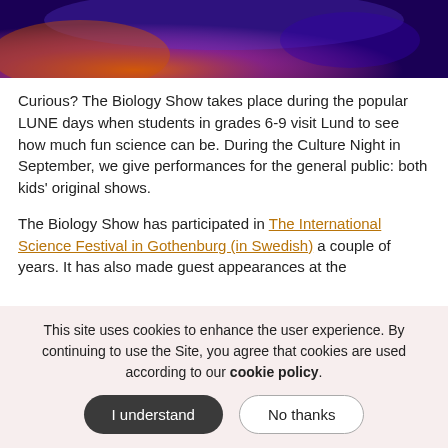[Figure (photo): A colorful photo with purple and blue lighting, orange/warm glow at bottom, appears to be a stage or science show environment.]
Curious? The Biology Show takes place during the popular LUNE days when students in grades 6-9 visit Lund to see how much fun science can be. During the Culture Night in September, we give performances for the general public: both kids' original shows.
The Biology Show has participated in The International Science Festival in Gothenburg (in Swedish) a couple of years. It has also made guest appearances at the
This site uses cookies to enhance the user experience. By continuing to use the Site, you agree that cookies are used according to our cookie policy.